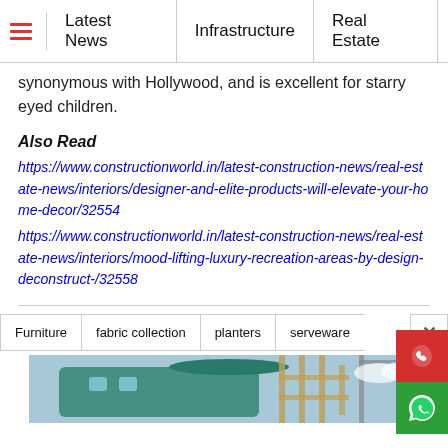≡  Latest News  |  Infrastructure  |  Real Estate
synonymous with Hollywood, and is excellent for starry eyed children.
Also Read
https://www.constructionworld.in/latest-construction-news/real-estate-news/interiors/designer-and-elite-products-will-elevate-your-home-decor/32554
https://www.constructionworld.in/latest-construction-news/real-estate-news/interiors/mood-lifting-luxury-recreation-areas-by-design-deconstruct-/32558
Furniture
fabric collection
planters
serveware
[Figure (photo): Helicopter or aircraft under construction scaffolding, teal/green structure visible]